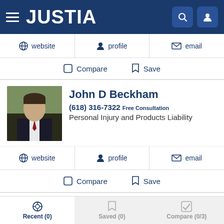JUSTIA
website | profile | email
Compare  Save
John D Beckham
(618) 316-7322  Free Consultation
Personal Injury and Products Liability
website | profile | email
Compare  Save
David W. Lawler
(618) 993-2222  Free Consultation + Video Conf
Recent (0)  Saved (0)  Compare (0/3)